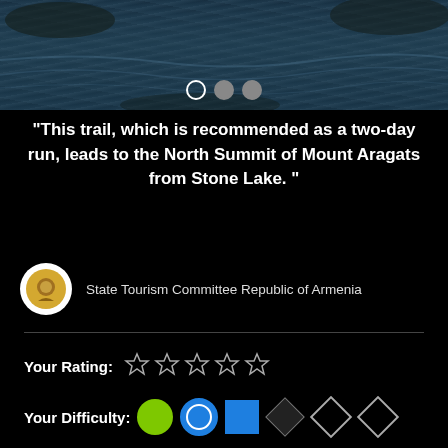[Figure (photo): Top portion of a scenic photo showing a rocky shoreline with water, with carousel navigation dots overlay]
“This trail, which is recommended as a two-day run, leads to the North Summit of Mount Aragats from Stone Lake. ”
State Tourism Committee Republic of Armenia
Your Rating: ☆☆☆☆☆
Your Difficulty: (green circle)(blue circle)(blue square)(black diamond)(outline diamond)(outline diamond)
Your Favorites: Add to Favorites · Your List
[Figure (map): Google Maps view showing Mount Aragats area with a red location pin and blue river/path overlay, map controls (expand and location buttons) on right side. Label reads: Mount Ara[gats] 13419]